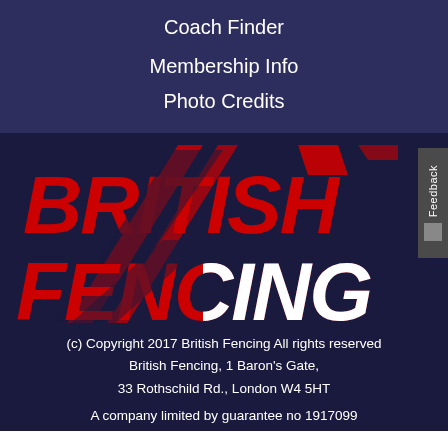Coach Finder
Membership Info
Photo Credits
[Figure (logo): British Fencing logo — bold red and white stylized text 'BRITISH FENCING' with diagonal slash mark graphic on dark navy background]
(c) Copyright 2017 British Fencing All rights reserved
British Fencing, 1 Baron's Gate,
33 Rothschild Rd., London W4 5HT
A company limited by guarantee no 1917099